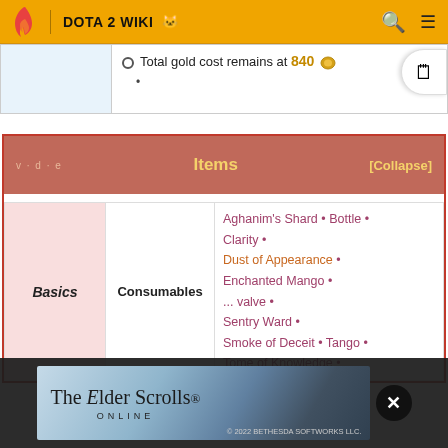DOTA 2 WIKI
|  |  |
| --- | --- |
|  | Total gold cost remains at 840 • |
Items [Collapse]
| Basics | Consumables |  |
| --- | --- | --- |
| Basics | Consumables | Aghanim's Shard • Bottle • Clarity • Dust of Appearance • Enchanted Mango • ... valve • Sentry Ward • Smoke of Deceit • Tango • Tome of Knowledge • Town Portal Scroll • |
[Figure (screenshot): The Elder Scrolls Online advertisement banner]